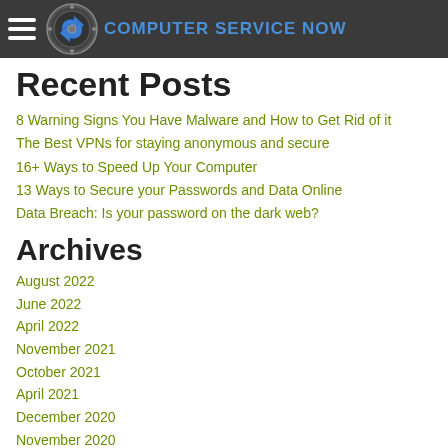Computer Service Now
Recent Posts
8 Warning Signs You Have Malware and How to Get Rid of it
The Best VPNs for staying anonymous and secure
16+ Ways to Speed Up Your Computer
13 Ways to Secure your Passwords and Data Online
Data Breach: Is your password on the dark web?
Archives
August 2022
June 2022
April 2022
November 2021
October 2021
April 2021
December 2020
November 2020
October 2020
September 2020
July 2020
April 2020
March 2020
January 2020